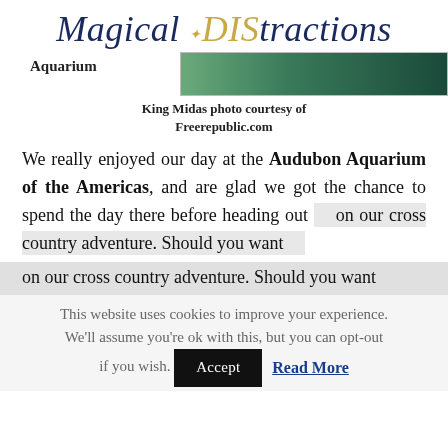Magical DIStractions
Aquarium
[Figure (photo): Cropped photo with green/teal tones, partially visible]
King Midas photo courtesy of Freerepublic.com
We really enjoyed our day at the Audubon Aquarium of the Americas, and are glad we got the chance to spend the day there before heading out on our cross country adventure. Should you want
This website uses cookies to improve your experience. We'll assume you're ok with this, but you can opt-out if you wish.
Accept
Read More